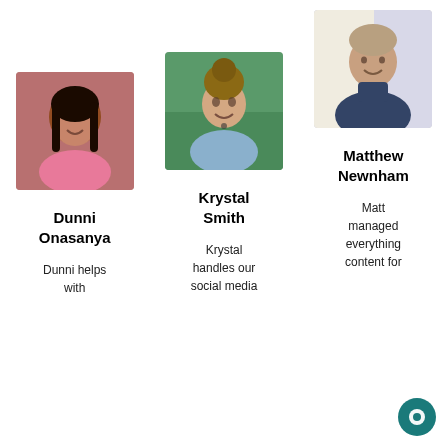[Figure (photo): Photo of Dunni Onasanya, a young woman smiling, wearing a pink top]
[Figure (photo): Photo of Krystal Smith, a woman with hair up, smiling outdoors in a blue top]
[Figure (photo): Photo of Matthew Newnham, a man smiling wearing a dark blue top]
Dunni Onasanya
Krystal Smith
Matthew Newnham
Dunni helps with
Krystal handles our social media
Matt managed everything content for